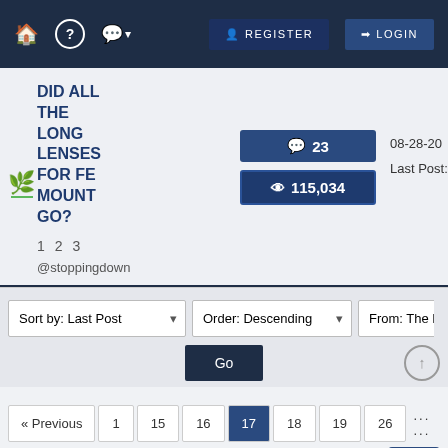🏠 ? 💬 REGISTER LOGIN
DID ALL THE LONG LENSES FOR FE MOUNT GO?
23 comments, 115,034 views
Pages: 1 2 3
@stoppingdown
08-28-20
Last Post:
Sort by: Last Post | Order: Descending | From: The Be
Go
« Previous 1 15 16 17 18 19 26 ... Next »